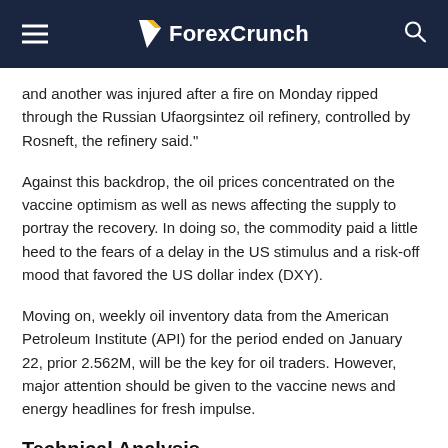ForexCrunch
and another was injured after a fire on Monday ripped through the Russian Ufaorgsintez oil refinery, controlled by Rosneft, the refinery said."
Against this backdrop, the oil prices concentrated on the vaccine optimism as well as news affecting the supply to portray the recovery. In doing so, the commodity paid a little heed to the fears of a delay in the US stimulus and a risk-off mood that favored the US dollar index (DXY).
Moving on, weekly oil inventory data from the American Petroleum Institute (API) for the period ended on January 22, prior 2.562M, will be the key for oil traders. However, major attention should be given to the vaccine news and energy headlines for fresh impulse.
Technical Analysis